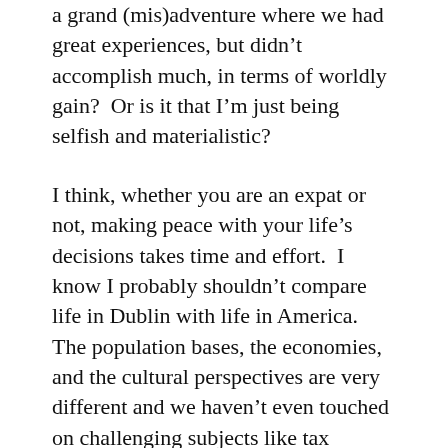a grand (mis)adventure where we had great experiences, but didn't accomplish much, in terms of worldly gain?  Or is it that I'm just being selfish and materialistic?
I think, whether you are an expat or not, making peace with your life's decisions takes time and effort.  I know I probably shouldn't compare life in Dublin with life in America.  The population bases, the economies, and the cultural perspectives are very different and we haven't even touched on challenging subjects like tax policy!  But the fact that I know I have a choice in where I live makes those comparisons unavoidable.  Life would be so much cheaper in America, but does that make for a happier life?  In Ireland, I have many of the things that matter strongly to me. I do know that I have a great support network here.  Right after posting the tweet, I had several friends call and text me to check